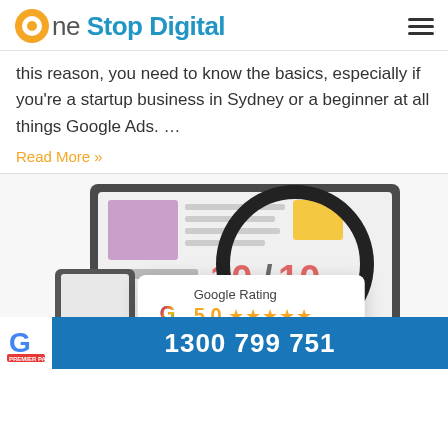One Stop Digital
this reason, you need to know the basics, especially if you're a startup business in Sydney or a beginner at all things Google Ads. …
Read More »
[Figure (illustration): Illustration of a computer screen showing a Quality Score 10/10 with a magnifying glass, overlaid with a Google Rating popup showing 5.0 stars based on 52 reviews, and a Google Ads logo partially visible. Footer bar with Google Premier Partner logo and phone number 1300 799 751.]
1300 799 751